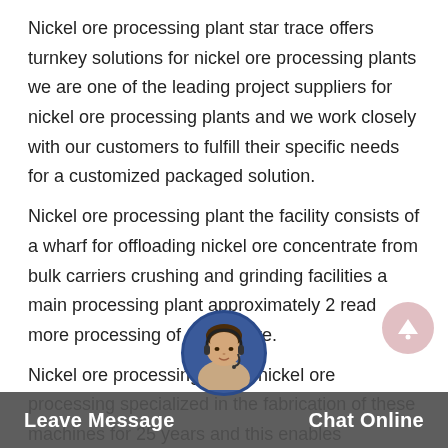Nickel ore processing plant star trace offers turnkey solutions for nickel ore processing plants we are one of the leading project suppliers for nickel ore processing plants and we work closely with our customers to fulfill their specific needs for a customized packaged solution.
Nickel ore processing plant the facility consists of a wharf for offloading nickel ore concentrate from bulk carriers crushing and grinding facilities a main processing plant approximately 2 read more processing of nickels ore.
Nickel ore processing plants nickel ore processing specialized in the fabrication of these machines for 25 years and this enables us a leading position in the field processing equipment
[Figure (illustration): Scroll-to-top circular button with pink/rose background and white upward arrow icon]
[Figure (photo): Customer service agent avatar: woman with headset, circular photo with dark blue border]
Leave Message   Chat Online